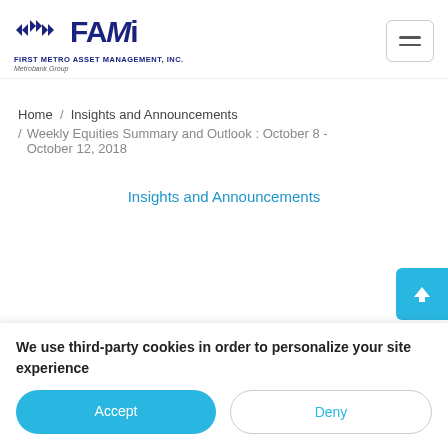[Figure (logo): FAMi - First Metro Asset Management Inc. Metrobank Group logo with arrow icons]
Home  /  Insights and Announcements
/  Weekly Equities Summary and Outlook : October 8 - October 12, 2018
Insights and Announcements
Weekly Equities Summary and Outlook : October 8 – October 12, 2018
We use third-party cookies in order to personalize your site experience
Accept
Deny